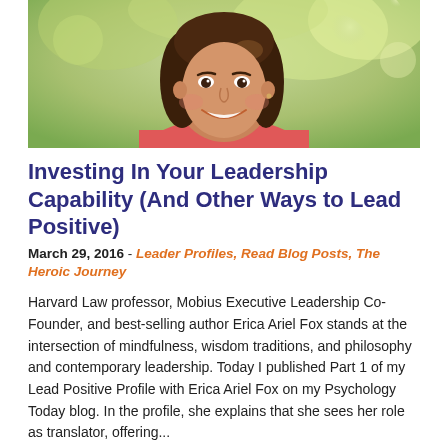[Figure (photo): Portrait photo of a smiling woman with shoulder-length brown hair, wearing a coral/pink top, with a blurred green outdoor background.]
Investing In Your Leadership Capability (And Other Ways to Lead Positive)
March 29, 2016 - Leader Profiles, Read Blog Posts, The Heroic Journey
Harvard Law professor, Mobius Executive Leadership Co-Founder, and best-selling author Erica Ariel Fox stands at the intersection of mindfulness, wisdom traditions, and philosophy and contemporary leadership. Today I published Part 1 of my Lead Positive Profile with Erica Ariel Fox on my Psychology Today blog. In the profile, she explains that she sees her role as translator, offering...